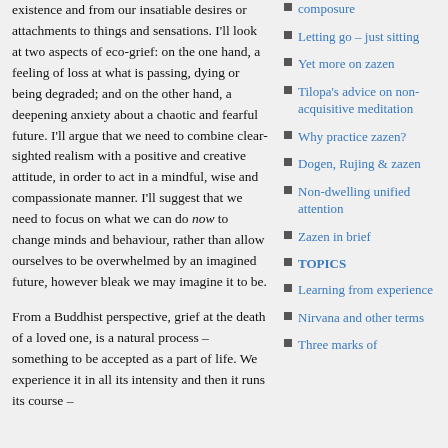existence and from our insatiable desires or attachments to things and sensations. I'll look at two aspects of eco-grief: on the one hand, a feeling of loss at what is passing, dying or being degraded; and on the other hand, a deepening anxiety about a chaotic and fearful future. I'll argue that we need to combine clear-sighted realism with a positive and creative attitude, in order to act in a mindful, wise and compassionate manner. I'll suggest that we need to focus on what we can do now to change minds and behaviour, rather than allow ourselves to be overwhelmed by an imagined future, however bleak we may imagine it to be.
From a Buddhist perspective, grief at the death of a loved one, is a natural process – something to be accepted as a part of life. We experience it in all its intensity and then it runs its course –
composure
Letting go – just sitting
Yet more on zazen
Tilopa's advice on non-acquisitive meditation
Why practice zazen?
Dogen, Rujing & zazen
Non-dwelling unified attention
Zazen in brief
TOPICS
Learning from experience
Nirvana and other terms
Three marks of